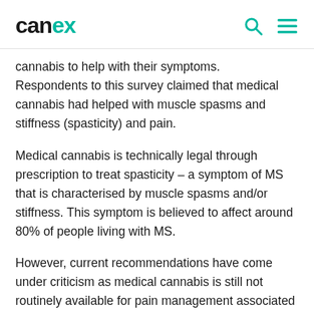canex
cannabis to help with their symptoms.  Respondents to this survey claimed that medical cannabis had helped with muscle spasms and stiffness (spasticity) and pain.
Medical cannabis is technically legal through prescription to treat spasticity – a symptom of MS that is characterised by muscle spasms and/or stiffness. This symptom is believed to affect around 80% of people living with MS.
However, current recommendations have come under criticism as medical cannabis is still not routinely available for pain management associated with MS.
This month, the MS Society has launched its